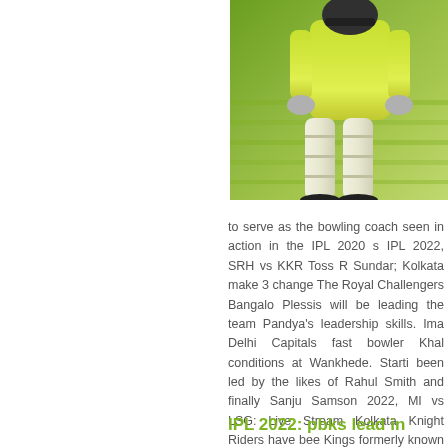[Figure (photo): Cricket player in yellow/green uniform with pads, standing on green grass pitch]
to serve as the bowling coach seen in action in the IPL 2020 s IPL 2022, SRH vs KKR Toss R Sundar; Kolkata make 3 change The Royal Challengers Bangalo Plessis will be leading the team Pandya's leadership skills. Ima Delhi Capitals fast bowler Khal conditions at Wankhede. Starti been led by the likes of Rahul Smith and finally Sanju Samson 2022, MI vs LSG: Live Stream Kolkata Knight Riders have bee Kings formerly known as King captains in IPL history.
IPL 2022: pbks lead in